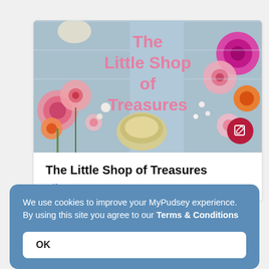[Figure (photo): Banner image for 'The Little Shop of Treasures' showing pink and orange flowers on a light blue wooden background with the shop name in pink text and a dark red edit button in the bottom right corner.]
The Little Shop of Treasures
Gifts
We use cookies to improve your MyPudsey experience. By using this site you agree to our Terms & Conditions
OK